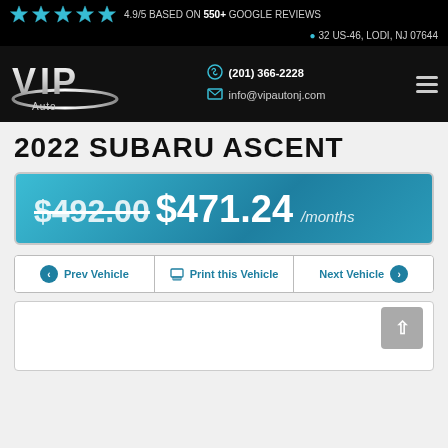4.9/5 BASED ON 550+ GOOGLE REVIEWS | 32 US-46, LODI, NJ 07644 | (201) 366-2228 | info@vipautonj.com
2022 SUBARU ASCENT
$492.00 $471.24 /months
Prev Vehicle | Print this Vehicle | Next Vehicle